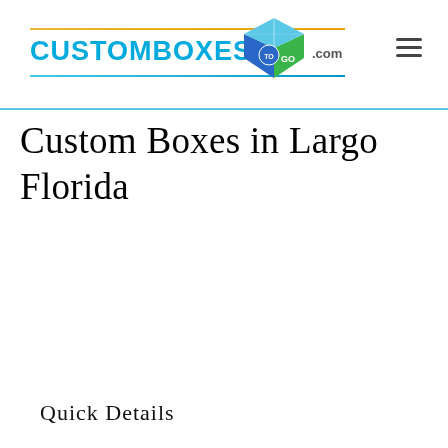CUSTOMBOXESTOGO.COM
Custom Boxes in Largo Florida
Quick Details